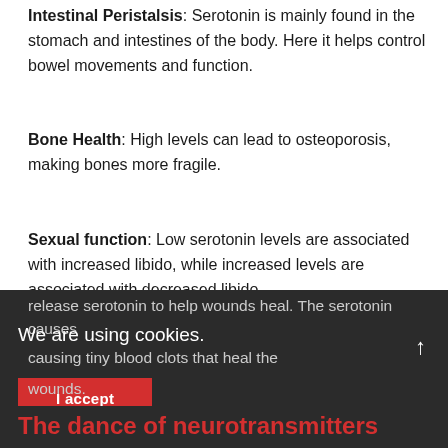Intestinal Peristalsis: Serotonin is mainly found in the stomach and intestines of the body. Here it helps control bowel movements and function.
Bone Health: High levels can lead to osteoporosis, making bones more fragile.
Sexual function: Low serotonin levels are associated with increased libido, while increased levels are associated with decreased libido.
Blood clotting: The platelets circulating in our bloodstream release serotonin to help wounds heal. The serotonin causes [vessels to narrow], causing tiny blood clots that heal the wounds.
[Figure (screenshot): Cookie consent overlay bar with dark background showing 'We are using cookies' text and 'I accept' red button]
The dance of neurotransmitters